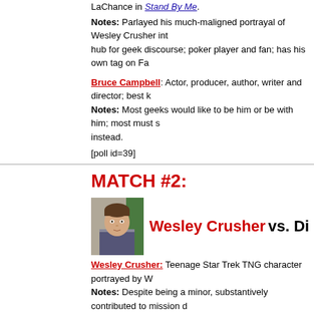LaChance in Stand By Me.
Notes: Parlayed his much-maligned portrayal of Wesley Crusher int... hub for geek discourse; poker player and fan; has his own tag on Fa...
Bruce Campbell: Actor, producer, author, writer and director; best k... Notes: Most geeks would like to be him or be with him; most must s... instead.
[poll id=39]
MATCH #2:
[Figure (photo): Photo of Wesley Crusher character (young man in Star Trek uniform)]
Wesley Crusher vs. Di...
Wesley Crusher: Teenage Star Trek TNG character portrayed by W... Notes: Despite being a minor, substantively contributed to mission c... normally indicate; left Enterprise to literally travel to alternate planes... Star Trek fanbase.
Dilton Doiley: Brainy character from the Archie comic series. Notes: Is admired by other characters in the Archie universe despite...
[poll id=40]
MATCH #3